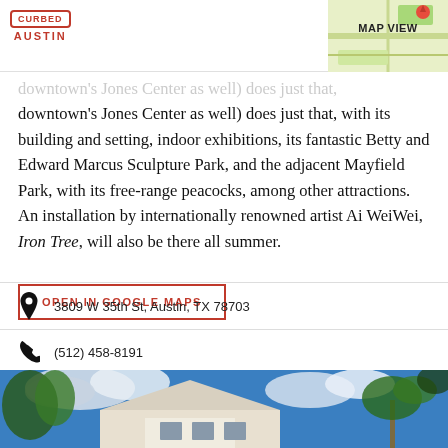CURBED AUSTIN | MAP VIEW
downtown's Jones Center as well) does just that, with its building and setting, indoor exhibitions, its fantastic Betty and Edward Marcus Sculpture Park, and the adjacent Mayfield Park, with its free-range peacocks, among other attractions. An installation by internationally renowned artist Ai WeiWei, Iron Tree, will also be there all summer.
OPEN IN GOOGLE MAPS
3809 W 35th St, Austin, TX 78703
(512) 458-8191
[Figure (photo): Exterior photo of a white building with palm trees and cloudy blue sky]